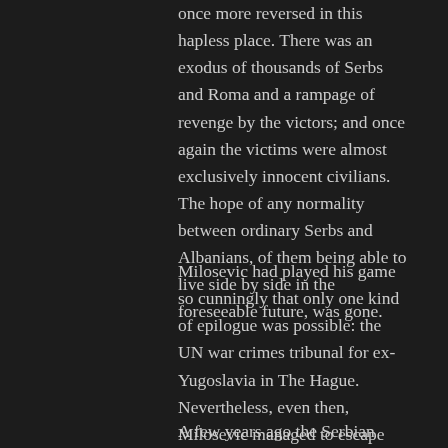once more reversed in this hapless place. There was an exodus of thousands of Serbs and Roma and a rampage of revenge by the victors; and once again the victims were almost exclusively innocent civilians. The hope of any normality between ordinary Serbs and Albanians, of them being able to live side by side in the foreseeable future, was gone.
Milosevic had played his game so cunningly that only one kind of epilogue was possible: the UN war crimes tribunal for ex-Yugoslavia in The Hague. Nevertheless, even then, Milosevic managed to escape the place where justice might have been done, if only by suffering a heart attack. By eluding justice he left us with the question of blame. Not least for this reason the citizens of Serbia are burdened with guilt and shame, whether we accept it or not.
A few years ago the Serbian media reported for months on end on mass graves whose dead had